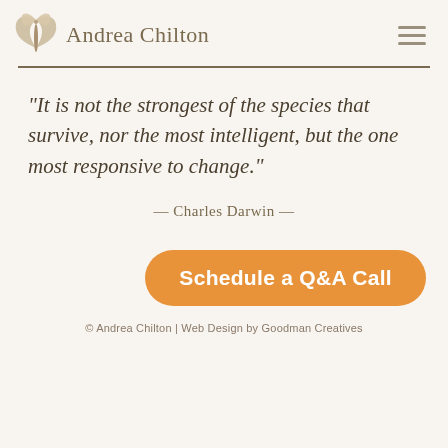Andrea Chilton
“It is not the strongest of the species that survive, nor the most intelligent, but the one most responsive to change.”
— Charles Darwin —
Schedule a Q&A Call
© Andrea Chilton | Web Design by Goodman Creatives